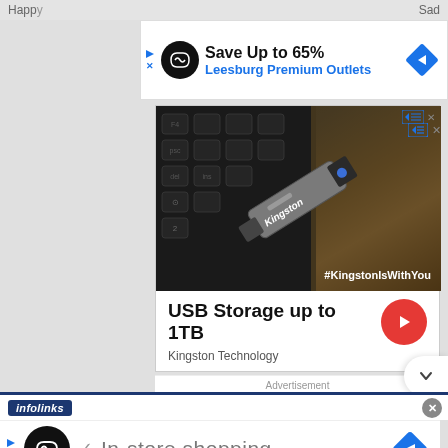Happ...   Sad
[Figure (screenshot): Advertisement for Leesburg Premium Outlets with logo, 'Save Up to 65%' text, outlet name in blue, and a blue diamond navigation icon]
[Figure (photo): Kingston USB drive on keyboard with #KingstonIsWithYou hashtag, advertisement for USB Storage up to 1TB by Kingston Technology with red arrow button]
Advertisement
[Figure (screenshot): Infolinks bar with dark blue badge logo]
[Figure (screenshot): Bottom advertisement showing In-store shopping with infinity logo circle, checkmark, and blue diamond navigation icon]